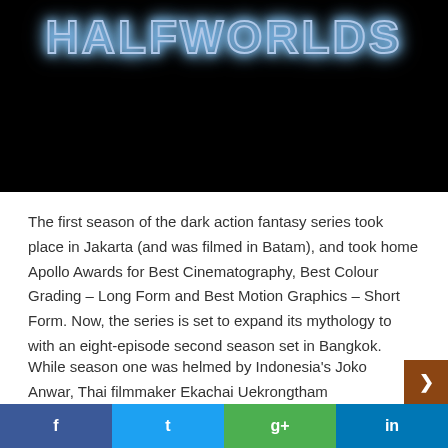[Figure (photo): Dark background with 'HALFWORLDS' text in glowing neon blue outline style lettering]
The first season of the dark action fantasy series took place in Jakarta (and was filmed in Batam), and took home Apollo Awards for Best Cinematography, Best Colour Grading – Long Form and Best Motion Graphics – Short Form. Now, the series is set to expand its mythology to with an eight-episode second season set in Bangkok.
While season one was helmed by Indonesia's Joko Anwar, Thai filmmaker Ekachai Uekrongtham (Beautiful Boxer, Skin Trade) will now help to widen the Halfworlds universe, whic
[Figure (infographic): Social share bar with four buttons: Facebook (blue), Twitter (cyan), Google+ (green), LinkedIn (teal), and a brown scroll button]